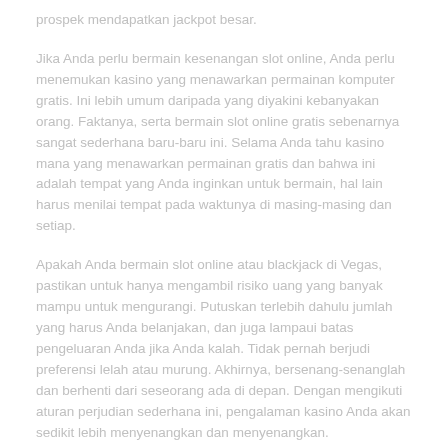prospek mendapatkan jackpot besar.
Jika Anda perlu bermain kesenangan slot online, Anda perlu menemukan kasino yang menawarkan permainan komputer gratis. Ini lebih umum daripada yang diyakini kebanyakan orang. Faktanya, serta bermain slot online gratis sebenarnya sangat sederhana baru-baru ini. Selama Anda tahu kasino mana yang menawarkan permainan gratis dan bahwa ini adalah tempat yang Anda inginkan untuk bermain, hal lain harus menilai tempat pada waktunya di masing-masing dan setiap.
Apakah Anda bermain slot online atau blackjack di Vegas, pastikan untuk hanya mengambil risiko uang yang banyak mampu untuk mengurangi. Putuskan terlebih dahulu jumlah yang harus Anda belanjakan, dan juga lampaui batas pengeluaran Anda jika Anda kalah. Tidak pernah berjudi preferensi lelah atau murung. Akhirnya, bersenang-senanglah dan berhenti dari seseorang ada di depan. Dengan mengikuti aturan perjudian sederhana ini, pengalaman kasino Anda akan sedikit lebih menyenangkan dan menyenangkan.